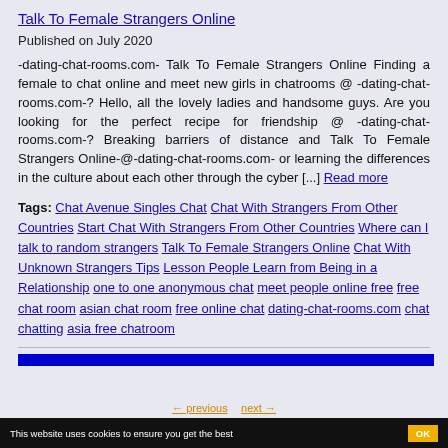Talk To Female Strangers Online
Published on July 2020
-dating-chat-rooms.com- Talk To Female Strangers Online Finding a female to chat online and meet new girls in chatrooms @ -dating-chat-rooms.com-? Hello, all the lovely ladies and handsome guys. Are you looking for the perfect recipe for friendship @ -dating-chat-rooms.com-? Breaking barriers of distance and Talk To Female Strangers Online-@-dating-chat-rooms.com- or learning the differences in the culture about each other through the cyber [...] Read more
Tags: Chat Avenue Singles Chat Chat With Strangers From Other Countries Start Chat With Strangers From Other Countries Where can I talk to random strangers Talk To Female Strangers Online Chat With Unknown Strangers Tips Lesson People Learn from Being in a Relationship one to one anonymous chat meet people online free free chat room asian chat room free online chat dating-chat-rooms.com chat chatting asia free chatroom
This website uses cookies to ensure you get the best